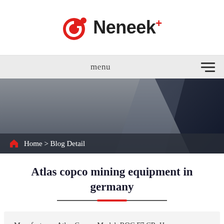[Figure (logo): Neneek+ logo with red circular icon and bold text]
menu
[Figure (photo): Dark grey industrial/mining hero banner image with darker angular shape overlay]
Home > Blog Detail
Atlas copco mining equipment in germany
Manufacturer: Atlas-Copco. Model: ROC F7 CR. Hours: